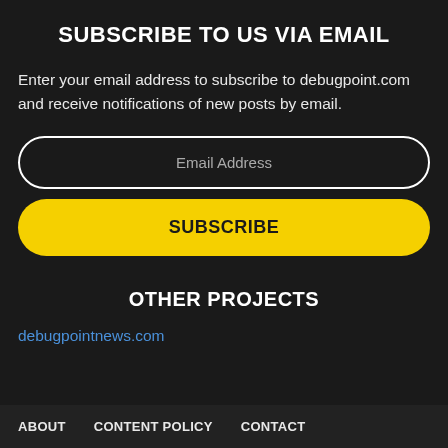SUBSCRIBE TO US VIA EMAIL
Enter your email address to subscribe to debugpoint.com and receive notifications of new posts by email.
[Figure (other): Email address input field with white rounded border and placeholder text 'Email Address']
[Figure (other): Yellow rounded SUBSCRIBE button]
OTHER PROJECTS
debugpointnews.com
ABOUT   CONTENT POLICY   CONTACT